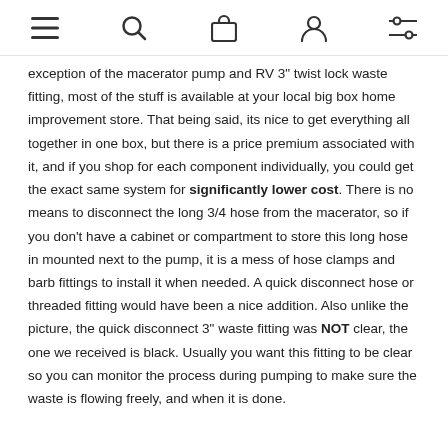navigation icons: menu, search, bag, account, filters
exception of the macerator pump and RV 3" twist lock waste fitting, most of the stuff is available at your local big box home improvement store. That being said, its nice to get everything all together in one box, but there is a price premium associated with it, and if you shop for each component individually, you could get the exact same system for significantly lower cost. There is no means to disconnect the long 3/4 hose from the macerator, so if you don't have a cabinet or compartment to store this long hose in mounted next to the pump, it is a mess of hose clamps and barb fittings to install it when needed. A quick disconnect hose or threaded fitting would have been a nice addition. Also unlike the picture, the quick disconnect 3" waste fitting was NOT clear, the one we received is black. Usually you want this fitting to be clear so you can monitor the process during pumping to make sure the waste is flowing freely, and when it is done.